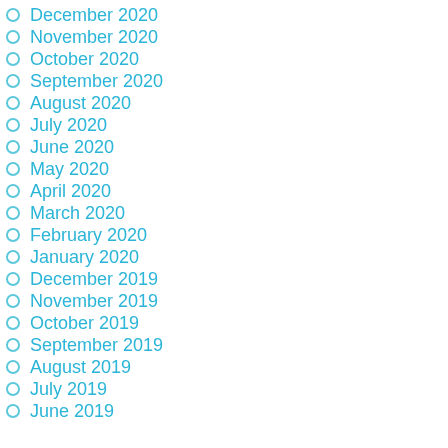December 2020
November 2020
October 2020
September 2020
August 2020
July 2020
June 2020
May 2020
April 2020
March 2020
February 2020
January 2020
December 2019
November 2019
October 2019
September 2019
August 2019
July 2019
June 2019